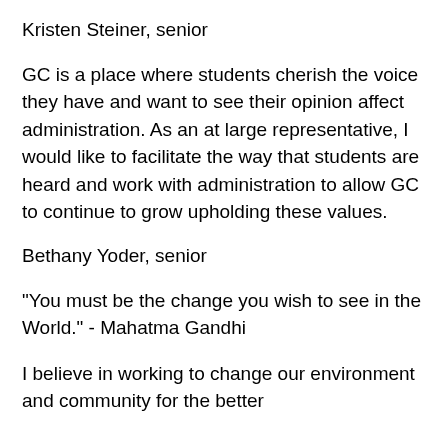Kristen Steiner, senior
GC is a place where students cherish the voice they have and want to see their opinion affect administration. As an at large representative, I would like to facilitate the way that students are heard and work with administration to allow GC to continue to grow upholding these values.
Bethany Yoder, senior
"You must be the change you wish to see in the World." - Mahatma Gandhi
I believe in working to change our environment and community for the better